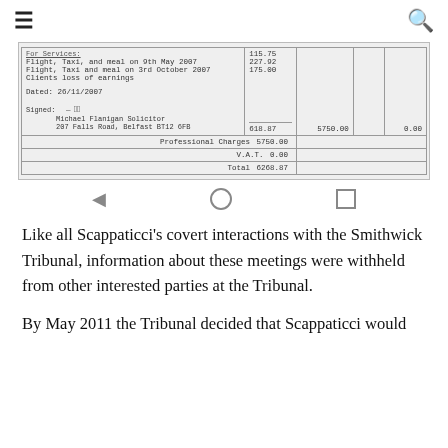≡  [navigation bar with hamburger and search icons]
[Figure (screenshot): Scanned invoice/bill document showing flight, taxi and meal expenses dated 26/11/2007, signed by Michael Flanigan Solicitor, 207 Falls Road, Belfast BT12 6FB. Shows amounts: 115.75, 227.92, 175.00; totals: 618.87, 5750.00, 0.00; Professional Charges 5750.00; V.A.T. 0.00; Total 6368.87]
Like all Scappaticci's covert interactions with the Smithwick Tribunal, information about these meetings were withheld from other interested parties at the Tribunal.
By May 2011 the Tribunal decided that Scappaticci would